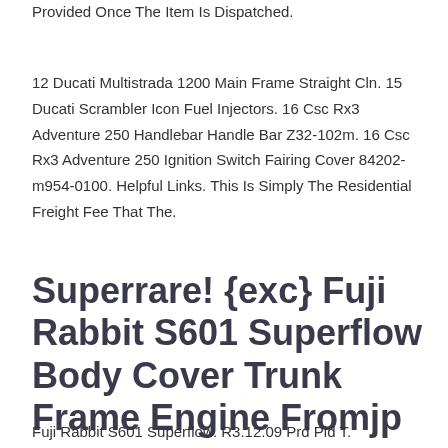Provided Once The Item Is Dispatched.
12 Ducati Multistrada 1200 Main Frame Straight Cln. 15 Ducati Scrambler Icon Fuel Injectors. 16 Csc Rx3 Adventure 250 Handlebar Handle Bar Z32-102m. 16 Csc Rx3 Adventure 250 Ignition Switch Fairing Cover 84202-m954-0100. Helpful Links. This Is Simply The Residential Freight Fee That The.
Superrare! {exc} Fuji Rabbit S601 Superflow Body Cover Trunk Frame Engine Fromjp
Fuji Rabbit S601 Superflow. R3.12.09 Prd Pld T.